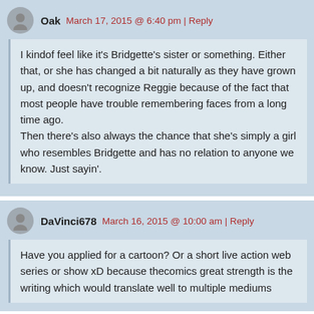Oak  March 17, 2015 @ 6:40 pm | Reply
I kindof feel like it's Bridgette's sister or something. Either that, or she has changed a bit naturally as they have grown up, and doesn't recognize Reggie because of the fact that most people have trouble remembering faces from a long time ago.
Then there's also always the chance that she's simply a girl who resembles Bridgette and has no relation to anyone we know. Just sayin'.
DaVinci678  March 16, 2015 @ 10:00 am | Reply
Have you applied for a cartoon? Or a short live action web series or show xD because thecomics great strength is the writing which would translate well to multiple mediums